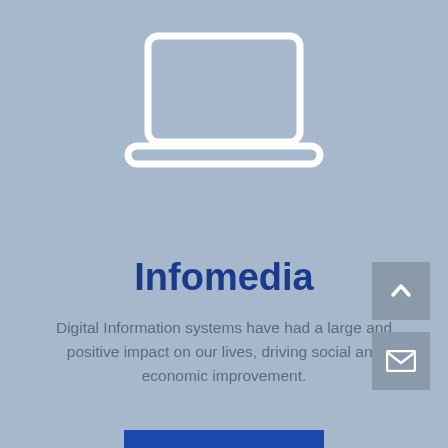[Figure (illustration): White outline icon of a laptop computer centered near the top of the page on a grey-blue background]
Infomedia
Digital Information systems have had a large and positive impact on our lives, driving social and economic improvement.